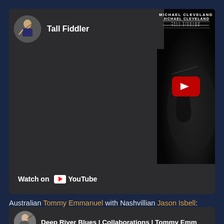[Figure (screenshot): YouTube video embed showing Michael Cleveland 'Tall Fiddler' album art with channel icon and name 'Tall Fiddler', red play button overlay, and 'Watch on YouTube' bar at bottom]
Australian Tommy Emmanuel with Nashvillian Jason Isbell:
[Figure (screenshot): Partial YouTube video card showing 'Deep River Blues | Collaborations | Tommy Emm...' with channel avatar]